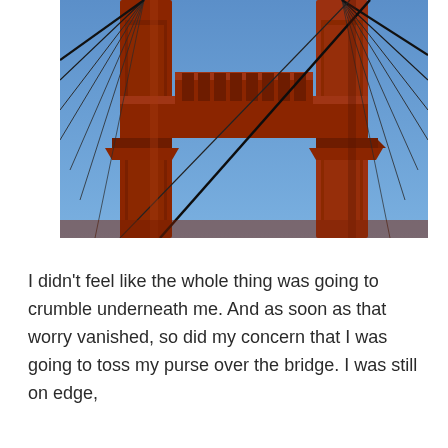[Figure (photo): Close-up photograph looking up at a tower of the Golden Gate Bridge in San Francisco. The red-orange steel tower with its distinctive Art Deco design dominates the frame against a clear blue sky. Suspension cables fan out diagonally from both sides of the tower.]
I didn't feel like the whole thing was going to crumble underneath me. And as soon as that worry vanished, so did my concern that I was going to toss my purse over the bridge. I was still on edge,